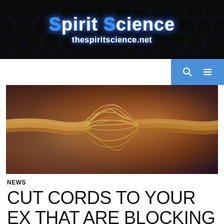Spirit Science
thespiritscience.net
[Figure (photo): Close-up macro photograph of a fraying rope breaking apart in the middle, on a warm orange-brown blurred background.]
NEWS
CUT CORDS TO YOUR EX THAT ARE BLOCKING YOU